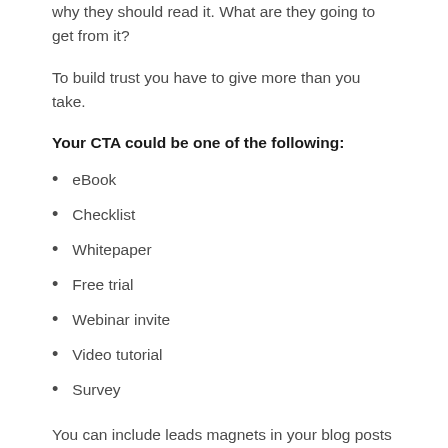why they should read it. What are they going to get from it?
To build trust you have to give more than you take.
Your CTA could be one of the following:
eBook
Checklist
Whitepaper
Free trial
Webinar invite
Video tutorial
Survey
You can include leads magnets in your blog posts or emails. Because those should have some call to action. Every marketing initiative should have a goal, an